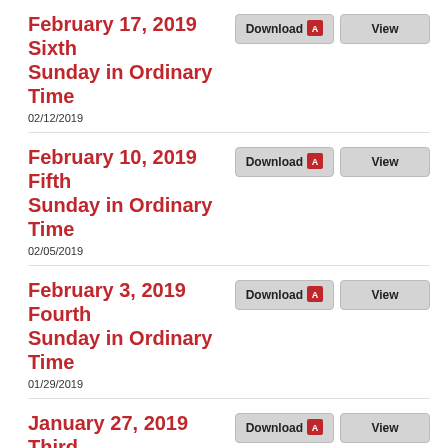February 17, 2019 Sixth Sunday in Ordinary Time
02/12/2019
February 10, 2019 Fifth Sunday in Ordinary Time
02/05/2019
February 3, 2019 Fourth Sunday in Ordinary Time
01/29/2019
January 27, 2019 Third Sunday in Ordinary Time
01/22/2019